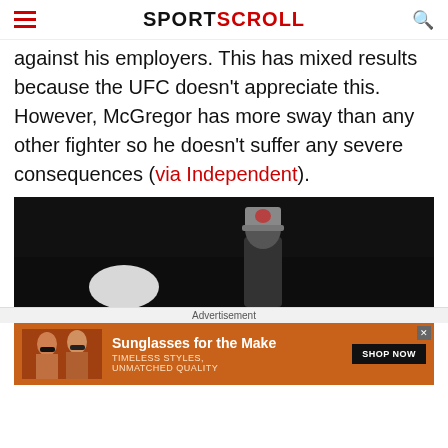SPORTSCROLL
against his employers. This has mixed results because the UFC doesn't appreciate this. However, McGregor has more sway than any other fighter so he doesn't suffer any severe consequences (via Independent).
[Figure (photo): Dark background photo showing a person wearing a grey beanie hat, partially visible at the bottom of the frame]
Advertisement
[Figure (photo): Advertisement banner: two women wearing sunglasses on orange background. Text reads 'Sunglasses for the Make', 'TIMELESS STYLES, UNMATCHED QUALITY', with 'SHOP NOW' button]